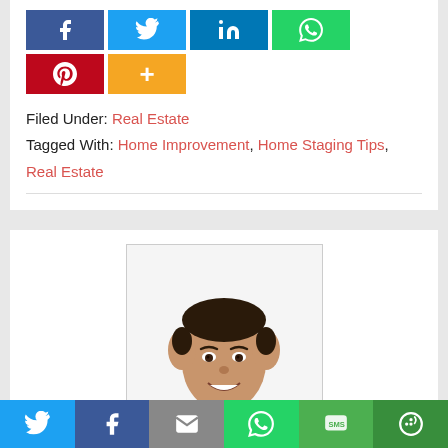[Figure (infographic): Social media share buttons row: Facebook (blue), Twitter (light blue), LinkedIn (dark blue), WhatsApp (green), Pinterest (red), and a More/+ button (orange)]
Filed Under: Real Estate
Tagged With: Home Improvement, Home Staging Tips, Real Estate
[Figure (photo): Professional headshot of an Asian man in a dark suit and blue shirt with striped tie, smiling, against a white background]
[Figure (infographic): Bottom share bar with icons for Twitter, Facebook, Email, WhatsApp, SMS, and More]